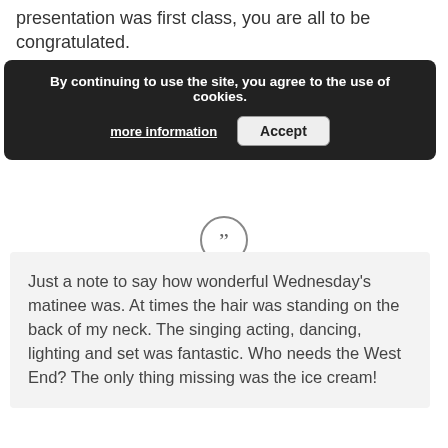presentation was first class, you are all to be congratulated.
By continuing to use the site, you agree to the use of cookies. more information  Accept
[Figure (other): Circular quote icon with double closing quotation marks, grey outline circle]
Just a note to say how wonderful Wednesday's matinee was. At times the hair was standing on the back of my neck. The singing acting, dancing, lighting and set was fantastic. Who needs the West End? The only thing missing was the ice cream!
[Figure (other): Circular quote icon with double closing quotation marks, grey outline circle]
Just had to drop you a line to say how amazing last night was. I have seen quite a few of your shows over the last 20 years and